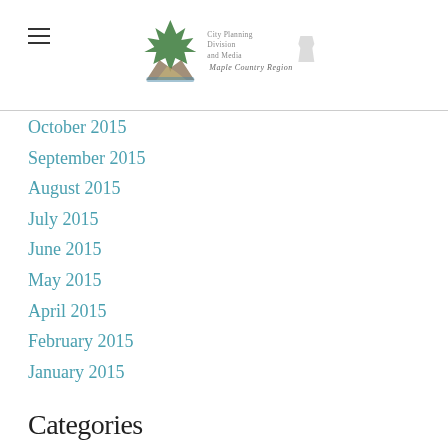Maple Country Region [logo with hamburger menu]
October 2015
September 2015
August 2015
July 2015
June 2015
May 2015
April 2015
February 2015
January 2015
Categories
All
RSS Feed